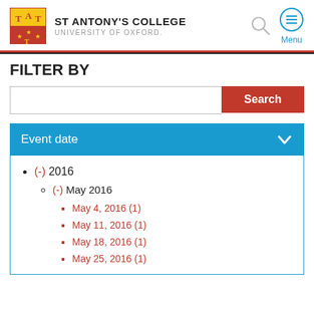ST ANTONY'S COLLEGE UNIVERSITY OF OXFORD.
FILTER BY
Search
Event date
(-) 2016
(-) May 2016
May 4, 2016 (1)
May 11, 2016 (1)
May 18, 2016 (1)
May 25, 2016 (1)